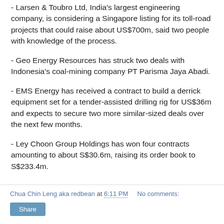- Larsen & Toubro Ltd, India's largest engineering company, is considering a Singapore listing for its toll-road projects that could raise about US$700m, said two people with knowledge of the process.
- Geo Energy Resources has struck two deals with Indonesia's coal-mining company PT Parisma Jaya Abadi.
- EMS Energy has received a contract to build a derrick equipment set for a tender-assisted drilling rig for US$36m and expects to secure two more similar-sized deals over the next few months.
- Ley Choon Group Holdings has won four contracts amounting to about S$30.6m, raising its order book to S$233.4m.
Chua Chin Leng aka redbean at 6:11 PM   No comments:   Share